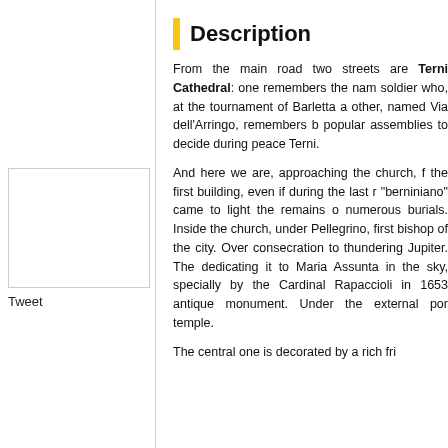[Figure (other): Tweet social media widget box]
Tweet
Description
From the main road two streets are Terni Cathedral: one remembers the name of a soldier who, at the tournament of Barletta a other, named Via dell'Arringo, remembers b popular assemblies to decide during peace Terni.
And here we are, approaching the church, f the first building, even if during the last r "berniniano" came to light the remains o numerous burials. Inside the church, under Pellegrino, first bishop of the city. Over consecration to thundering Jupiter. The dedicating it to Maria Assunta in the sky, specially by the Cardinal Rapaccioli in 1653 antique monument. Under the external por temple.
The central one is decorated by a rich fri